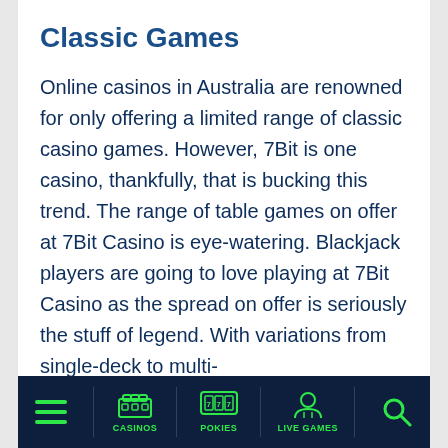Classic Games
Online casinos in Australia are renowned for only offering a limited range of classic casino games. However, 7Bit is one casino, thankfully, that is bucking this trend. The range of table games on offer at 7Bit Casino is eye-watering. Blackjack players are going to love playing at 7Bit Casino as the spread on offer is seriously the stuff of legend. With variations from single-deck to multi-
CASINOS | POKIES | LIVE GAMES